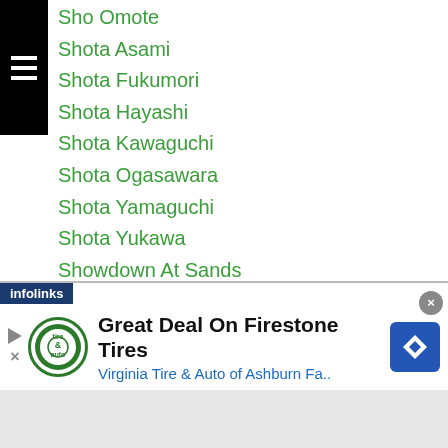Sho Omote
Shota Asami
Shota Fukumori
Shota Hayashi
Shota Kawaguchi
Shota Ogasawara
Shota Yamaguchi
Shota Yukawa
Showdown At Sands
Shugo Namura
Shuhei Tsuchiya
Shuichiro Yoshino
Shuji Kato
Shuji Nagata
Shukurjon Rahimov
Shukurjon Rakhimov
[Figure (infographic): Advertisement banner: Great Deal On Firestone Tires - Virginia Tire & Auto of Ashburn Fa.. with infolinks bar]